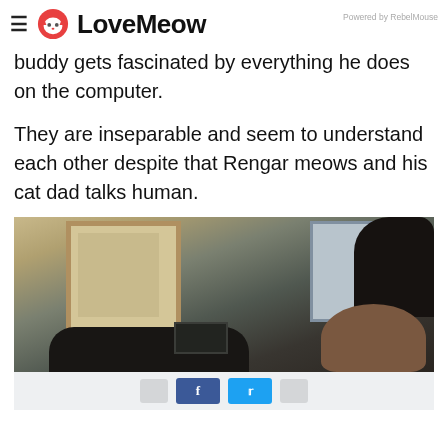≡ 🐱 LoveMeow   Powered by RebelMouse
buddy gets fascinated by everything he does on the computer.
They are inseparable and seem to understand each other despite that Rengar meows and his cat dad talks human.
[Figure (photo): Indoor scene showing a person at a desk with computer equipment, viewed from behind. A dark cat silhouette is visible at the top right. Room with door frame and window visible in background.]
[Figure (screenshot): Social sharing bar with Facebook and Twitter buttons]